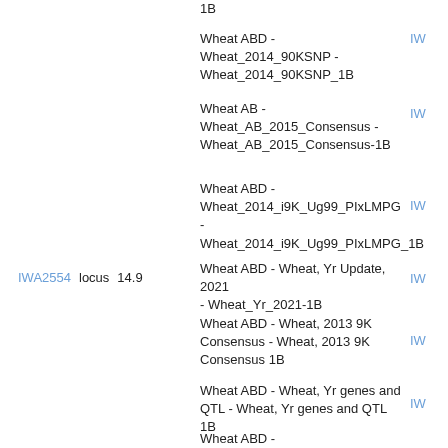1B
Wheat ABD - Wheat_2014_90KSNP - Wheat_2014_90KSNP_1B
Wheat AB - Wheat_AB_2015_Consensus - Wheat_AB_2015_Consensus-1B
Wheat ABD - Wheat_2014_i9K_Ug99_PIxLMPG - Wheat_2014_i9K_Ug99_PIxLMPG_1B
Wheat ABD - Wheat, Yr Update, 2021 - Wheat_Yr_2021-1B
IWA2554   locus   14.9
Wheat ABD - Wheat, 2013 9K Consensus - Wheat, 2013 9K Consensus 1B
Wheat ABD - Wheat, Yr genes and QTL - Wheat, Yr genes and QTL 1B
Wheat ABD - Wheat_2014_i9K_Ug99_PIxLMPG - Wheat_2014_i9K_Ug99_PIxLMPG_1B
Wheat ABD - Wheat, Yr Update, 2021 - Wheat_Yr_2021-1B